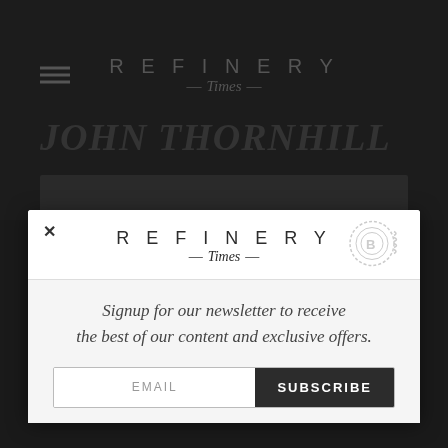[Figure (screenshot): Dark background showing a website header with hamburger menu icon on the left, Refinery Times logo in center (REFINERY in spaced caps, Times in italic script with dashes), and a dark photo strip partially visible below.]
JOHN THORNHILL
[Figure (screenshot): Modal popup overlay on lighter background. Contains: close X button top-left, Refinery Times logo centered (REFINERY in spaced caps, Times in italic script with dashes), and a postage stamp icon top-right. Lower section has newsletter signup text and EMAIL input with SUBSCRIBE button.]
Signup for our newsletter to receive the best of our content and exclusive offers.